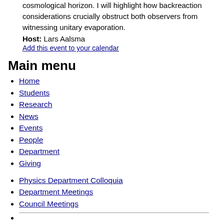cosmological horizon. I will highlight how backreaction considerations crucially obstruct both observers from witnessing unitary evaporation.
Host: Lars Aalsma
Add this event to your calendar
Main menu
Home
Students
Research
News
Events
People
Department
Giving
Physics Department Colloquia
Department Meetings
Council Meetings
Atomic Physics Seminars
Careers for Physicists
Chaos & Complex Systems Seminars